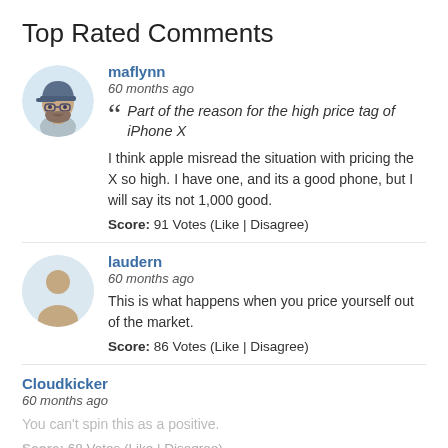Top Rated Comments
maflynn
60 months ago
“Part of the reason for the high price tag of iPhone X

I think apple misread the situation with pricing the X so high. I have one, and its a good phone, but I will say its not 1,000 good.

Score: 91 Votes (Like | Disagree)
laudern
60 months ago

This is what happens when you price yourself out of the market.

Score: 86 Votes (Like | Disagree)
Cloudkicker
60 months ago

You can’t spin this as a positive.

Score: 68 Votes (Like | Disagree)